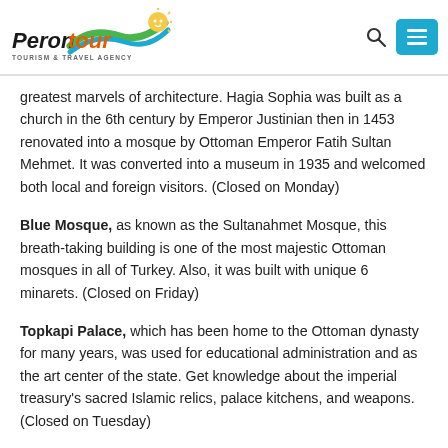Perontour Tourism & Travel Agency
greatest marvels of architecture. Hagia Sophia was built as a church in the 6th century by Emperor Justinian then in 1453 renovated into a mosque by Ottoman Emperor Fatih Sultan Mehmet. It was converted into a museum in 1935 and welcomed both local and foreign visitors. (Closed on Monday)
Blue Mosque, as known as the Sultanahmet Mosque, this breath-taking building is one of the most majestic Ottoman mosques in all of Turkey. Also, it was built with unique 6 minarets. (Closed on Friday)
Topkapi Palace, which has been home to the Ottoman dynasty for many years, was used for educational administration and as the art center of the state. Get knowledge about the imperial treasury's sacred Islamic relics, palace kitchens, and weapons. (Closed on Tuesday)